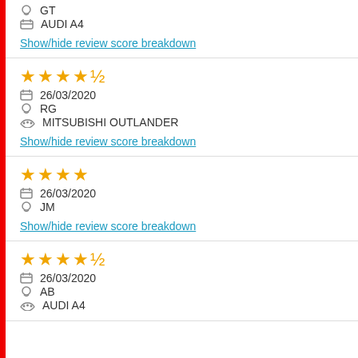GT | AUDI A4 | Show/hide review score breakdown
★★★★½ | 26/03/2020 | RG | MITSUBISHI OUTLANDER | Show/hide review score breakdown
★★★★ | 26/03/2020 | JM | Show/hide review score breakdown
★★★★½ | 26/03/2020 | AB | AUDI A4